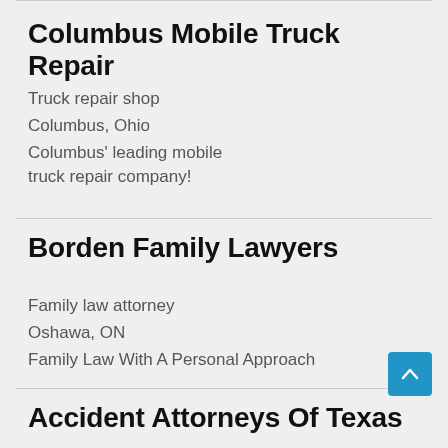Columbus Mobile Truck Repair
Truck repair shop
Columbus, Ohio
Columbus' leading mobile truck repair company!
Borden Family Lawyers
Family law attorney
Oshawa, ON
Family Law With A Personal Approach
Accident Attorneys Of Texas